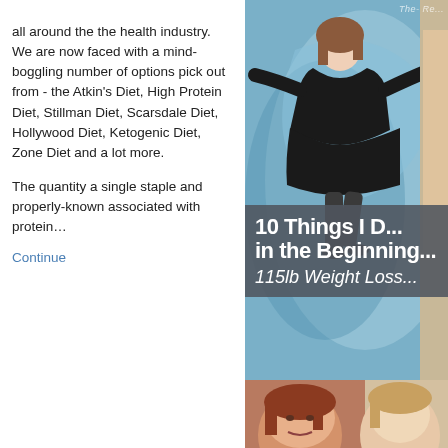all around the the health industry. We are now faced with a mind-boggling number of options pick out from - the Atkin's Diet, High Protein Diet, Stillman Diet, Scarsdale Diet, Hollywood Diet, Ketogenic Diet, Zone Diet and a lot more.
The quantity a single staple and properly-known associated with protein…
Continue
[Figure (photo): Before photo of a woman in a black dress posing in front of a pool/wave background, and below an overlay banner reading '10 Things I [Did] in the Beginning... 115lb Weight Loss' with photos of women at bottom]